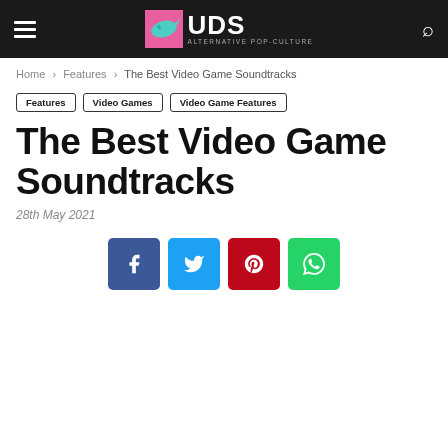UDS - ALTERNATIVE POP-CULTURE
Home › Features › The Best Video Game Soundtracks
Features
Video Games
Video Game Features
The Best Video Game Soundtracks
28th May 2021
[Figure (infographic): Social sharing buttons: Facebook (blue), Twitter (light blue), Pinterest (red), WhatsApp (green)]